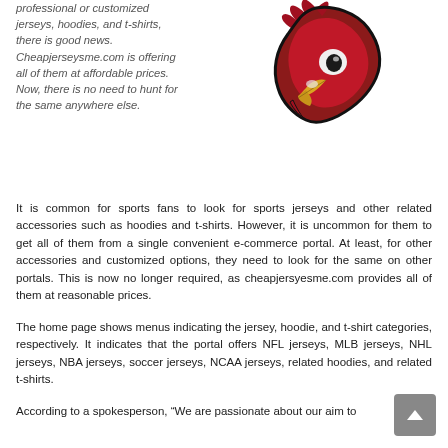professional or customized jerseys, hoodies, and t-shirts, there is good news. Cheapjerseysme.com is offering all of them at affordable prices. Now, there is no need to hunt for the same anywhere else.
[Figure (logo): Arizona Cardinals NFL team logo — red cardinal bird head facing left with yellow beak and black outline]
It is common for sports fans to look for sports jerseys and other related accessories such as hoodies and t-shirts. However, it is uncommon for them to get all of them from a single convenient e-commerce portal. At least, for other accessories and customized options, they need to look for the same on other portals. This is now no longer required, as cheapjersyesme.com provides all of them at reasonable prices.
The home page shows menus indicating the jersey, hoodie, and t-shirt categories, respectively. It indicates that the portal offers NFL jerseys, MLB jerseys, NHL jerseys, NBA jerseys, soccer jerseys, NCAA jerseys, related hoodies, and related t-shirts.
According to a spokesperson, “We are passionate about our aim to